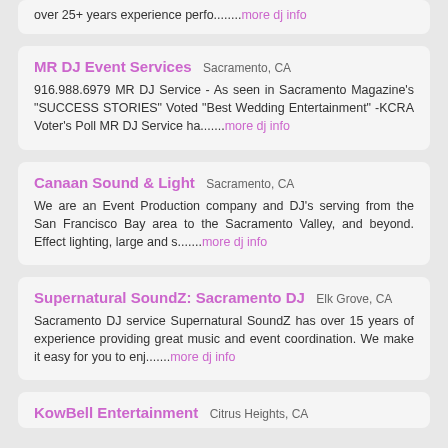over 25+ years experience perfo........more dj info
MR DJ Event Services — Sacramento, CA
916.988.6979 MR DJ Service - As seen in Sacramento Magazine's "SUCCESS STORIES" Voted "Best Wedding Entertainment" -KCRA Voter's Poll MR DJ Service ha.......more dj info
Canaan Sound & Light — Sacramento, CA
We are an Event Production company and DJ's serving from the San Francisco Bay area to the Sacramento Valley, and beyond. Effect lighting, large and s.......more dj info
Supernatural SoundZ: Sacramento DJ — Elk Grove, CA
Sacramento DJ service Supernatural SoundZ has over 15 years of experience providing great music and event coordination. We make it easy for you to enj.......more dj info
KowBell Entertainment — Citrus Heights, CA